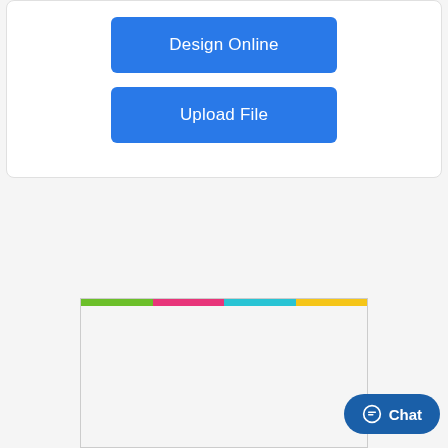Design Online
Upload File
[Figure (illustration): Grand Opening flyer preview: colorful multi-stripe top bar, red bold 'GRAND OPENING' text with 'JANUARY 14th', green '50%' and 'FREE Food & Drinks! discount on first purchase', balloons graphic on right side.]
Chat